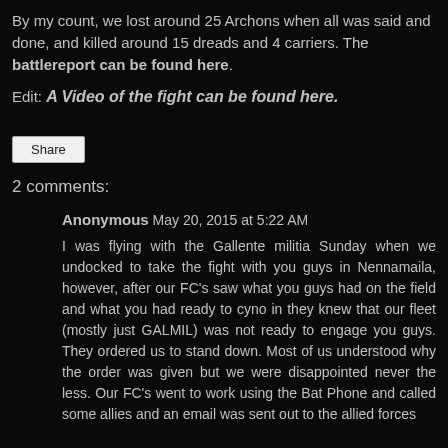By my count, we lost around 25 Archons when all was said and done, and killed around 15 dreads and 4 carriers. The battlereport can be found here.
Edit: A Video of the fight can be found here.
Share
2 comments:
Anonymous May 20, 2015 at 5:22 AM
I was flying with the Gallente militia Sunday when we undocked to take the fight with you guys in Nennamaila, however, after our FC's saw what you guys had on the field and what you had ready to cyno in they knew that our fleet (mostly just GALMIL) was not ready to engage you guys. They ordered us to stand down. Most of us understood why the order was given but we were disappointed never the less. Our FC's went to work using the Bat Phone and called some allies and an email was sent out to the allied forces